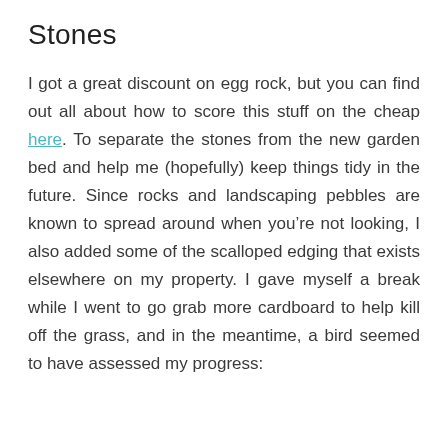Stones
I got a great discount on egg rock, but you can find out all about how to score this stuff on the cheap here. To separate the stones from the new garden bed and help me (hopefully) keep things tidy in the future. Since rocks and landscaping pebbles are known to spread around when you’re not looking, I also added some of the scalloped edging that exists elsewhere on my property. I gave myself a break while I went to go grab more cardboard to help kill off the grass, and in the meantime, a bird seemed to have assessed my progress: